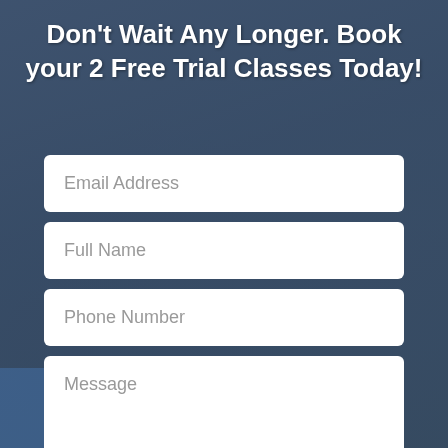Don't Wait Any Longer. Book your 2 Free Trial Classes Today!
Email Address
Full Name
Phone Number
Message